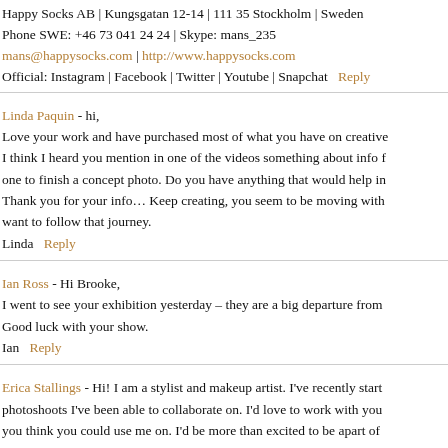Happy Socks AB | Kungsgatan 12-14 | 111 35 Stockholm | Sweden
Phone SWE: +46 73 041 24 24 | Skype: mans_235
mans@happysocks.com | http://www.happysocks.com
Official: Instagram | Facebook | Twitter | Youtube | Snapchat   Reply
Linda Paquin - hi,
Love your work and have purchased most of what you have on creative...
I think I heard you mention in one of the videos something about info...
one to finish a concept photo. Do you have anything that would help in...
Thank you for your info… Keep creating, you seem to be moving with...
want to follow that journey.
Linda   Reply
Ian Ross - Hi Brooke,
I went to see your exhibition yesterday – they are a big departure from...
Good luck with your show.
Ian   Reply
Erica Stallings - Hi! I am a stylist and makeup artist. I've recently start...
photoshoots I've been able to collaborate on. I'd love to work with you...
you think you could use me on. I'd be more than excited to be apart of...